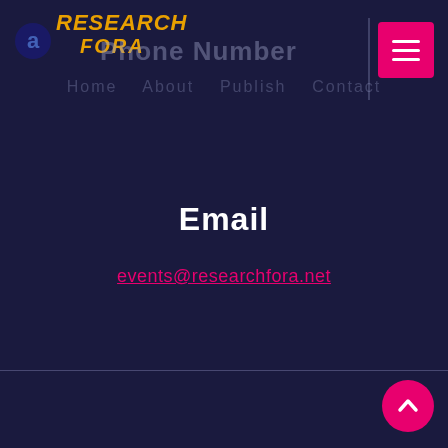RESEARCH FORA
Phone Number
Email
events@researchfora.net